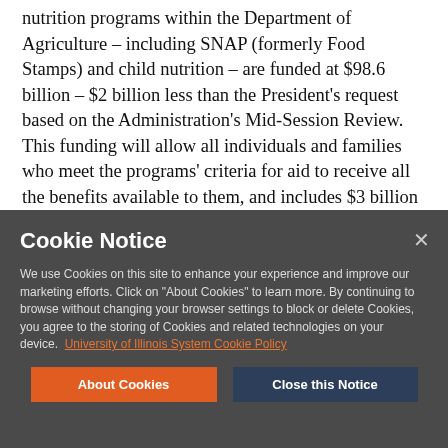nutrition programs within the Department of Agriculture – including SNAP (formerly Food Stamps) and child nutrition – are funded at $98.6 billion – $2 billion less than the President's request based on the Administration's Mid-Session Review. This funding will allow all individuals and families who meet the programs' criteria for aid to receive all the benefits available to them, and includes $3 billion in reserve funds in case of unanticipated increases in participation or food price increases.
Cookie Notice
We use Cookies on this site to enhance your experience and improve our marketing efforts. Click on "About Cookies" to learn more. By continuing to browse without changing your browser settings to block or delete Cookies, you agree to the storing of Cookies and related technologies on your device. University of Illinois System Cookie Policy
About Cookies
Close this Notice